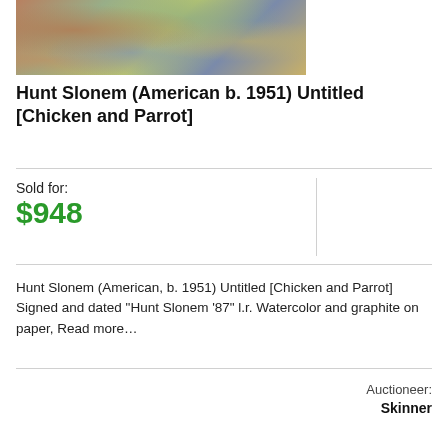[Figure (photo): Painting of a chicken and parrot, colorful watercolor artwork with expressive brushstrokes in green, blue, yellow, and orange tones]
Hunt Slonem (American b. 1951) Untitled [Chicken and Parrot]
Sold for:
$948
Hunt Slonem (American, b. 1951) Untitled [Chicken and Parrot] Signed and dated "Hunt Slonem '87" l.r. Watercolor and graphite on paper, Read more…
Auctioneer:
Skinner